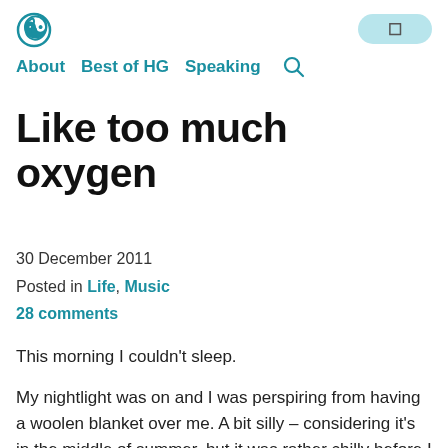About  Best of HG  Speaking
Like too much oxygen
30 December 2011
Posted in Life, Music
28 comments
This morning I couldn't sleep.
My nightlight was on and I was perspiring from having a woolen blanket over me. A bit silly – considering it's in the middle of summer, but it was rather chilly before I jumped into bed. At 3:00am